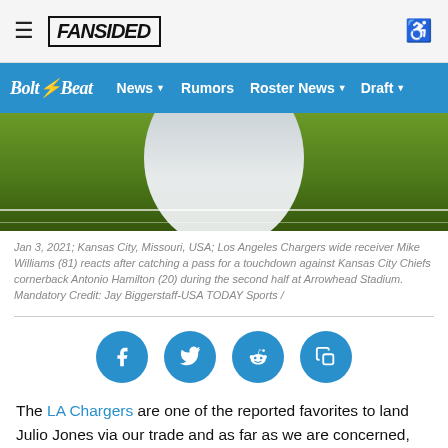FanSided | Bolt Beat | News | Rumors | Roster News | Draft
[Figure (photo): Football player in white Chargers uniform celebrating on green field after touchdown]
Jan 3, 2021; Kansas City, Missouri, USA; Los Angeles Chargers wide receiver Mike Williams (81) reacts after catching a pass for a touchdown against Kansas City Chiefs cornerback Antonio Hamilton (20) during the second half at Arrowhead Stadium. Mandatory Credit: Jay Biggerstaff-USA TODAY Sports /
[Figure (infographic): Social share buttons: Facebook, Twitter, Reddit, Copy link]
The LA Chargers are one of the reported favorites to land Julio Jones via our trade and as far as we are concerned, they are the best destination not just for Jones but for the Atlanta Falcons as well.
The fanbase is split on whether or not Jones makes sense for the